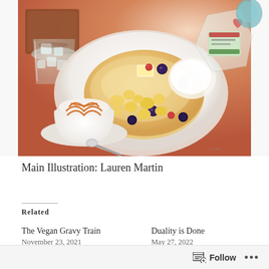[Figure (illustration): An overhead watercolor-style illustration showing a café table scene with pancakes topped with blueberries, butter, and fruit on a white plate, a latte with caramel lattice art in a white cup, an iced drink in a glass with a dark wooden tray, and a small transparent container with a label on the right side. Warm reddish-brown table surface with bright light from upper right.]
Main Illustration: Lauren Martin
Related
The Vegan Gravy Train
November 23, 2021
Duality is Done
May 27, 2022